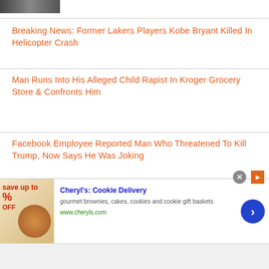[Figure (photo): Partial thumbnail image at top left]
Breaking News: Former Lakers Players Kobe Bryant Killed In Helicopter Crash
Man Runs Into His Alleged Child Rapist In Kroger Grocery Store & Confronts Him
Facebook Employee Reported Man Who Threatened To Kill Trump, Now Says He Was Joking
Bronze Star Veteran Gets Prosthetic Legs Repossessed Because He Couldn't Afford It, What A Shame!
[Figure (photo): Advertisement banner for Cheryl's Cookie Delivery with image of cookies/brownies, text: Cheryl's: Cookie Delivery, gourmet brownies, cakes, cookies and cookie gift baskets, www.cheryls.com]